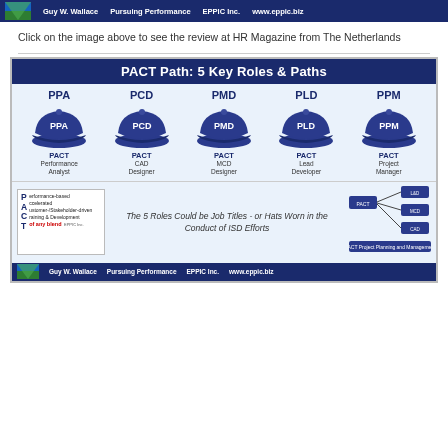Guy W. Wallace   Pursuing Performance   EPPIC Inc.   www.eppic.biz
Click on the image above to see the review at HR Magazine from The Netherlands
[Figure (infographic): PACT Path: 5 Key Roles & Paths infographic showing five roles (PPA, PCD, PMD, PLD, PPM) each with a blue hat, role title and subtitle. Bottom section contains a book image, italic description text, and an organizational diagram.]
Guy W. Wallace   Pursuing Performance   EPPIC Inc.   www.eppic.biz